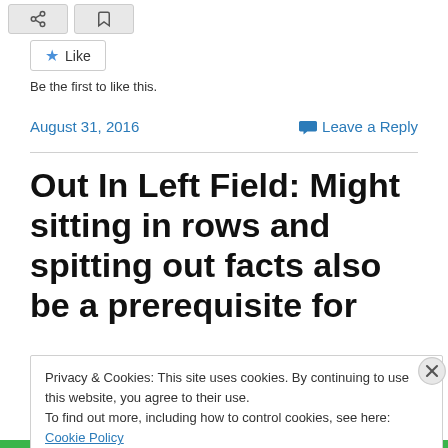[Figure (other): Two gray buttons (share/bookmark icons) at top of page]
[Figure (other): Like button with star icon]
Be the first to like this.
August 31, 2016
Leave a Reply
Out In Left Field: Might sitting in rows and spitting out facts also be a prerequisite for
Privacy & Cookies: This site uses cookies. By continuing to use this website, you agree to their use.
To find out more, including how to control cookies, see here: Cookie Policy
Close and accept